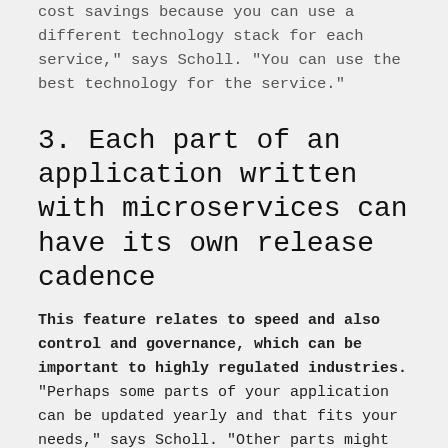cost savings because you can use a different technology stack for each service," says Scholl. "You can use the best technology for the service."
3. Each part of an application written with microservices can have its own release cadence
This feature relates to speed and also control and governance, which can be important to highly regulated industries. "Perhaps some parts of your application can be updated yearly and that fits your needs," says Scholl. "Other parts might need to be updated more often, if you are looking to be agile and react faster to the market or to take advantage of new technology."
Let's go back to the data analytics and machine learning example. Perhaps new machine-learning technology has